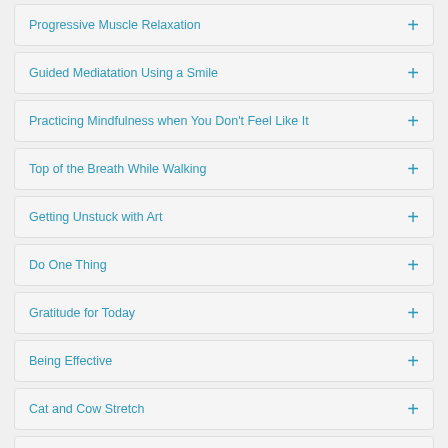Progressive Muscle Relaxation
Guided Mediatation Using a Smile
Practicing Mindfulness when You Don't Feel Like It
Top of the Breath While Walking
Getting Unstuck with Art
Do One Thing
Gratitude for Today
Being Effective
Cat and Cow Stretch
Shoshin